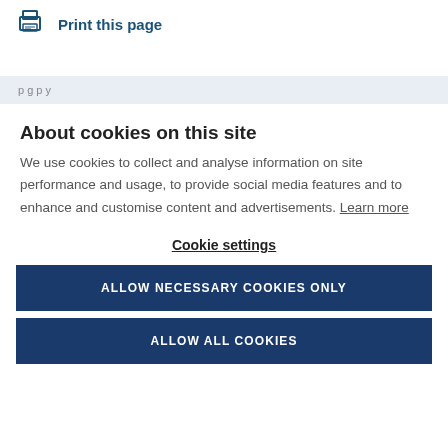Print this page
About cookies on this site
We use cookies to collect and analyse information on site performance and usage, to provide social media features and to enhance and customise content and advertisements. Learn more
Cookie settings
ALLOW NECESSARY COOKIES ONLY
ALLOW ALL COOKIES